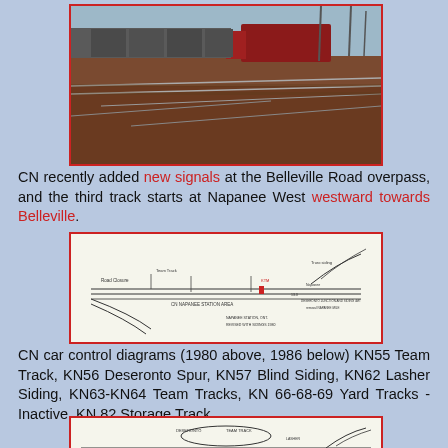[Figure (photo): Photograph of a CN freight train with locomotive on tracks with multiple rail lines diverging, reddish-brown terrain, utility poles in background]
CN recently added new signals at the Belleville Road overpass, and the third track starts at Napanee West westward towards Belleville.
[Figure (engineering-diagram): CN car control diagram from 1980 showing track layout with labels for KN55 Team Track, KN56 Deseronto Spur, KN57 Blind Siding, KN62 Lasher Siding, KN63-KN64 Team Tracks, KN 66-68-69 Yard Tracks, KN 82 Storage Track]
CN car control diagrams (1980 above, 1986 below) KN55 Team Track, KN56 Deseronto Spur, KN57 Blind Siding, KN62 Lasher Siding, KN63-KN64 Team Tracks, KN 66-68-69 Yard Tracks - Inactive, KN 82 Storage Track.
[Figure (engineering-diagram): CN car control diagram from 1986 showing updated track layout with similar track designations]